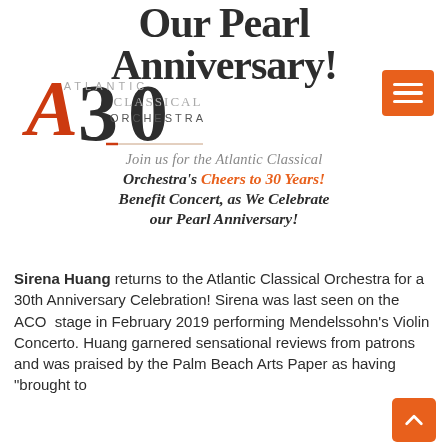Our Pearl Anniversary!
[Figure (logo): Atlantic Classical Orchestra 30th anniversary logo with large red stylized '30' and decorative 'A' letter, with text 'ATLANTIC CLASSICAL ORCHESTRA']
[Figure (other): Orange square hamburger menu button with three white horizontal lines]
Join us for the Atlantic Classical Orchestra's Cheers to 30 Years! Benefit Concert, as We Celebrate our Pearl Anniversary!
Sirena Huang returns to the Atlantic Classical Orchestra for a 30th Anniversary Celebration! Sirena was last seen on the ACO stage in February 2019 performing Mendelssohn's Violin Concerto. Huang garnered sensational reviews from patrons and was praised by the Palm Beach Arts Paper as having "brought to